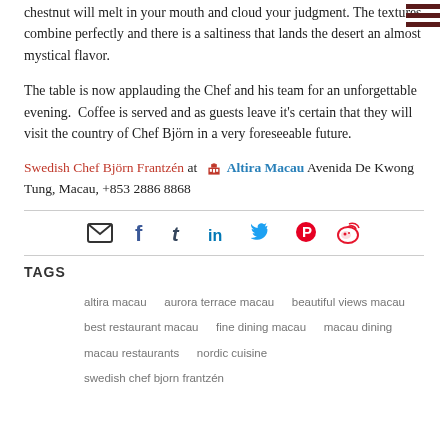The smoked ice cream with crispy brown rice and caramelized chestnut will melt in your mouth and cloud your judgment. The textures combine perfectly and there is a saltiness that lands the desert an almost mystical flavor.
The table is now applauding the Chef and his team for an unforgettable evening.  Coffee is served and as guests leave it's certain that they will visit the country of Chef Björn in a very foreseeable future.
Swedish Chef Björn Frantzén at  🏨 Altira Macau Avenida De Kwong Tung, Macau, +853 2886 8868
[Figure (infographic): Social sharing icon bar with email, Facebook, Tumblr, LinkedIn, Twitter, Pinterest, and Weibo icons]
TAGS
altira macau
aurora terrace macau
beautiful views macau
best restaurant macau
fine dining macau
macau dining
macau restaurants
nordic cuisine
swedish chef bjorn frantzén